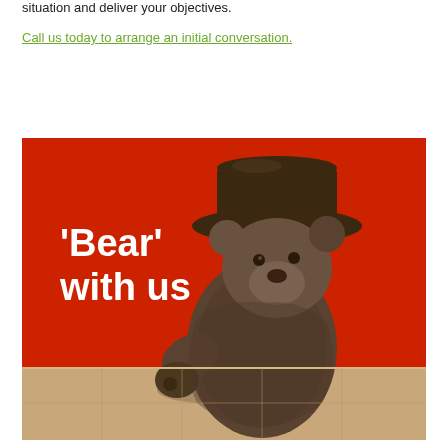situation and deliver your objectives.
Call us today to arrange an initial conversation.
[Figure (photo): Bronze Paddington Bear statue against a red background with white text reading 'Bear' with us]